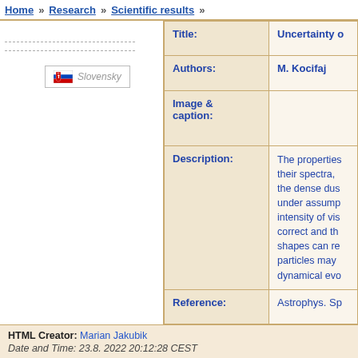Home » Research » Scientific results »
[Figure (illustration): Slovak flag icon with italic text 'Slovensky' beside it inside a bordered box]
| Field | Value |
| --- | --- |
| Title: | Uncertainty o... |
| Authors: | M. Kocifaj |
| Image & caption: |  |
| Description: | The properties their spectra, the dense dus under assump intensity of vis correct and th shapes can re particles may dynamical evo |
| Reference: | Astrophys. Sp |
HTML Creator: Marian Jakubik
Date and Time: 23.8. 2022 20:12:28 CEST